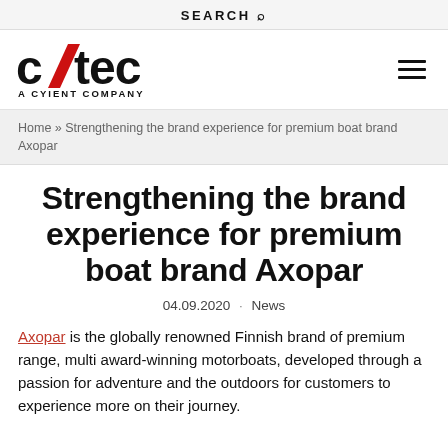SEARCH
[Figure (logo): Critec - A Cyient Company logo with red slash in 'Critec' wordmark]
Home » Strengthening the brand experience for premium boat brand Axopar
Strengthening the brand experience for premium boat brand Axopar
04.09.2020 · News
Axopar is the globally renowned Finnish brand of premium range, multi award-winning motorboats, developed through a passion for adventure and the outdoors for customers to experience more on their journey.